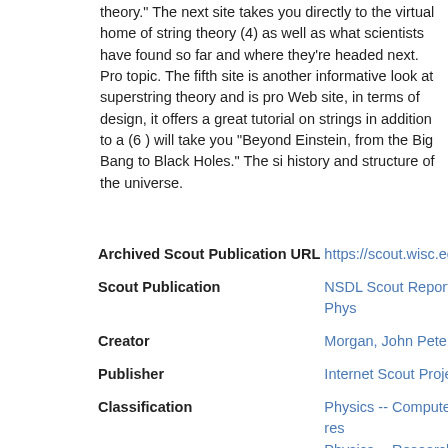theory." The next site takes you directly to the virtual home of string theory (4) as well as what scientists have found so far and where they're headed next. Pro topic. The fifth site is another informative look at superstring theory and is pro Web site, in terms of design, it offers a great tutorial on strings in addition to a (6 ) will take you "Beyond Einstein, from the Big Bang to Black Holes." The si history and structure of the universe.
| Field | Value |
| --- | --- |
| Archived Scout Publication URL | https://scout.wisc.edu/Reports/N |
| Scout Publication | NSDL Scout Report for the Phys |
| Creator | Morgan, John Peter |
| Publisher | Internet Scout Project |
| Classification | Physics -- Computer network res
Physics -- Research
Physics -- Bibliography
Physics -- Popular works.
String models -- Bibliography
String models -- Study and teach
String models -- Research |
| Language | English |
| Date of Scout Publication | September 5th, 2003 |
| Date Of Record Creation | September 4th, 2003 at 5:33pm |
| Date Of Record Release | August 19th, 2007 at 4:14pm |
| Resource URL Clicks | 1 |